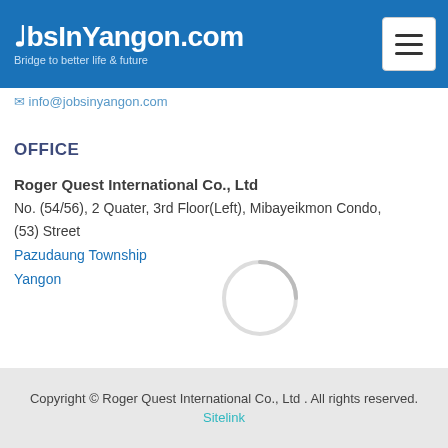JobsInYangon.com – Bridge to better life & future
info@jobsinyangon.com
OFFICE
Roger Quest International Co., Ltd
No. (54/56), 2 Quater, 3rd Floor(Left), Mibayeikmon Condo, (53) Street
Pazudaung Township
Yangon
[Figure (logo): Facebook and LinkedIn social media icons]
Copyright © Roger Quest International Co., Ltd . All rights reserved. Sitelink